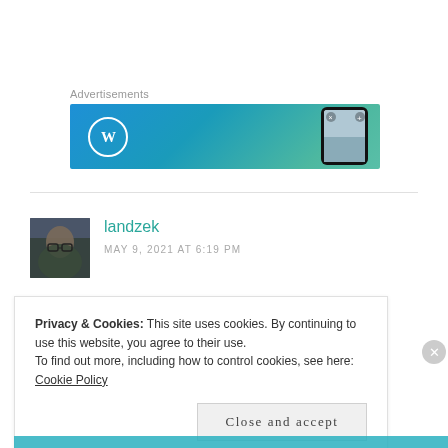Advertisements
[Figure (screenshot): WordPress advertisement banner with blue-teal gradient background, WordPress logo (W circle) on the left, and a phone mockup on the right showing a scenic photo.]
landzek
MAY 9, 2021 AT 6:19 PM
Privacy & Cookies: This site uses cookies. By continuing to use this website, you agree to their use.
To find out more, including how to control cookies, see here:
Cookie Policy
Close and accept